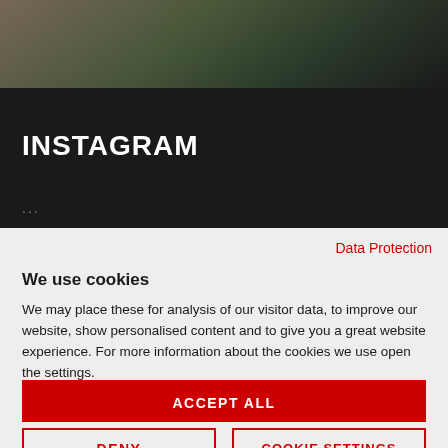[Figure (photo): Partial photo of a person in outdoor/hunting gear with green background, dark overlay at bottom]
INSTAGRAM
...
Data Protection
We use cookies
We may place these for analysis of our visitor data, to improve our website, show personalised content and to give you a great website experience. For more information about the cookies we use open the settings.
ACCEPT ALL
DENY
COOKIE SETTINGS